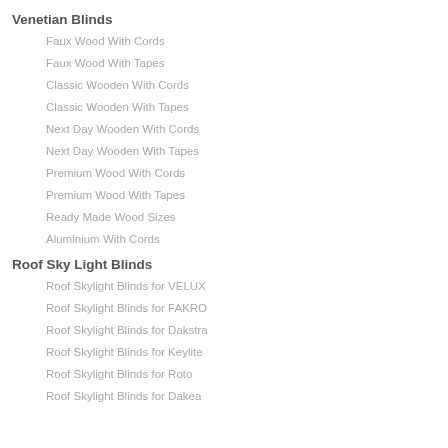Venetian Blinds
Faux Wood With Cords
Faux Wood With Tapes
Classic Wooden With Cords
Classic Wooden With Tapes
Next Day Wooden With Cords
Next Day Wooden With Tapes
Premium Wood With Cords
Premium Wood With Tapes
Ready Made Wood Sizes
Aluminium With Cords
Roof Sky Light Blinds
Roof Skylight Blinds for VELUX
Roof Skylight Blinds for FAKRO
Roof Skylight Blinds for Dakstra
Roof Skylight Blinds for Keylite
Roof Skylight Blinds for Roto
Roof Skylight Blinds for Dakea